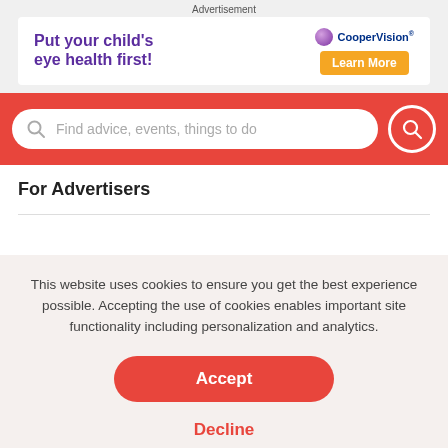Advertisement
[Figure (infographic): Advertisement banner for CooperVision with purple bold text 'Put your child's eye health first!' on the left, CooperVision logo and purple sphere on the right, and an orange 'Learn More' button.]
[Figure (screenshot): Red search bar with a white rounded search input field containing placeholder text 'Find advice, events, things to do' and a circular search button on the right.]
For Advertisers
This website uses cookies to ensure you get the best experience possible. Accepting the use of cookies enables important site functionality including personalization and analytics.
Accept
Decline